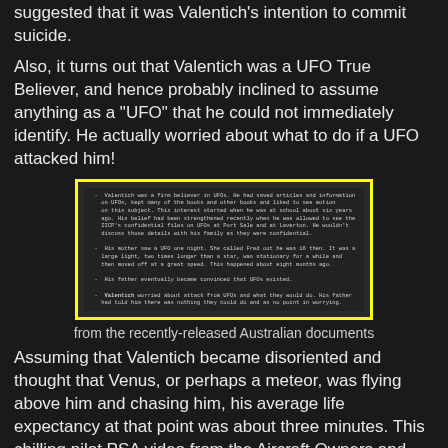flight might make do not check out. Some have also suggested that it was Valentich's intention to commit suicide.
Also, it turns out that Valentich was a UFO True Believer, and hence probably inclined to assume anything as a "UFO" that he could not immediately identify. He actually worried about what to do if a UFO attacked him!
[Figure (photo): Scanned document with yellow border containing bullet points about Valentich's UFO beliefs and related information, from recently-released Australian documents]
from the recently-released Australian documents
Assuming that Valentich became disoriented and thought that Venus, or perhaps a meteor, was flying above him and chasing him, his average life expectancy at that point was about three minutes. This chilling pilot PSA video from the Aircraft Owners and Pilots Association shows exactly what happened to Valentich (as well as to JFK Jr in 1999). Watching this video made my blood run cold, but it's absolutely realistic.